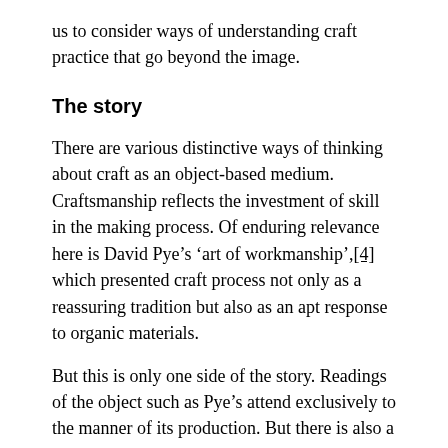us to consider ways of understanding craft practice that go beyond the image.
The story
There are various distinctive ways of thinking about craft as an object-based medium. Craftsmanship reflects the investment of skill in the making process. Of enduring relevance here is David Pye’s ‘art of workmanship’,[4] which presented craft process not only as a reassuring tradition but also as an apt response to organic materials.
But this is only one side of the story. Readings of the object such as Pye’s attend exclusively to the manner of its production. But there is also a complimentary dimension revealed as the object makes its way into the world, once it leaves the maker’s hands. So what craft framework do we employ to understand the life of the